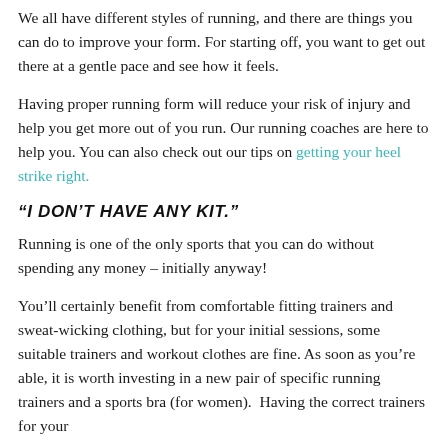We all have different styles of running, and there are things you can do to improve your form. For starting off, you want to get out there at a gentle pace and see how it feels.
Having proper running form will reduce your risk of injury and help you get more out of you run. Our running coaches are here to help you. You can also check out our tips on getting your heel strike right.
“I DON’T HAVE ANY KIT.”
Running is one of the only sports that you can do without spending any money – initially anyway!
You’ll certainly benefit from comfortable fitting trainers and sweat-wicking clothing, but for your initial sessions, some suitable trainers and workout clothes are fine. As soon as you’re able, it is worth investing in a new pair of specific running trainers and a sports bra (for women).  Having the correct trainers for your